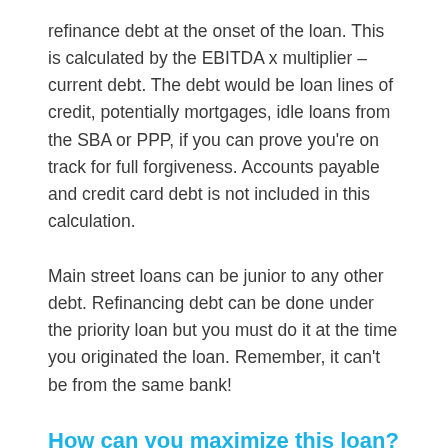refinance debt at the onset of the loan. This is calculated by the EBITDA x multiplier – current debt. The debt would be loan lines of credit, potentially mortgages, idle loans from the SBA or PPP, if you can prove you're on track for full forgiveness. Accounts payable and credit card debt is not included in this calculation.
Main street loans can be junior to any other debt. Refinancing debt can be done under the priority loan but you must do it at the time you originated the loan. Remember, it can't be from the same bank!
How can you maximize this loan?
The best way to maximize your MSLP loan is to